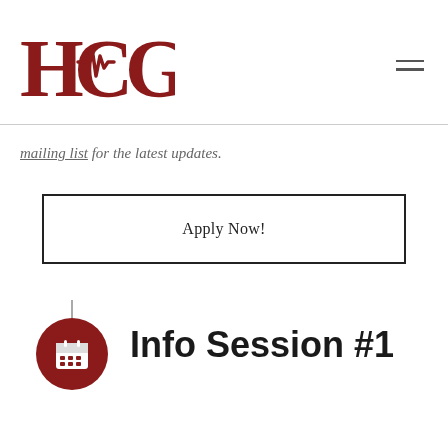[Figure (logo): HCG logo with heartbeat line through the C, in dark red color]
mailing list for the latest updates.
Apply Now!
[Figure (illustration): Red calendar icon in a dark red circle, with a small vertical stem above]
Info Session #1